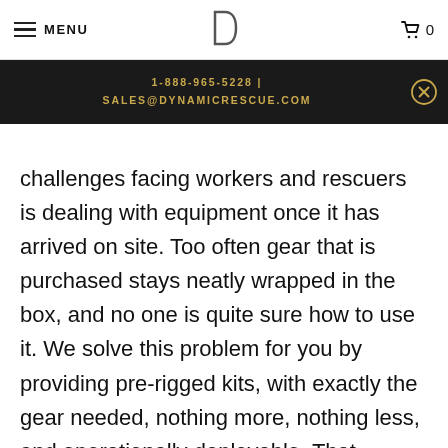MENU | [logo] | cart 0
1-888-965-5228 | SALES@DYNAMICRESCUE.COM
challenges facing workers and rescuers is dealing with equipment once it has arrived on site. Too often gear that is purchased stays neatly wrapped in the box, and no one is quite sure how to use it. We solve this problem for you by providing pre-rigged kits, with exactly the gear needed, nothing more, nothing less, and operationally deployable. That means when your equipment arrives, all you have to do is take it out of the box and you're ready to go. Everything is already in place, cut, tied, labeled, and documented. Why